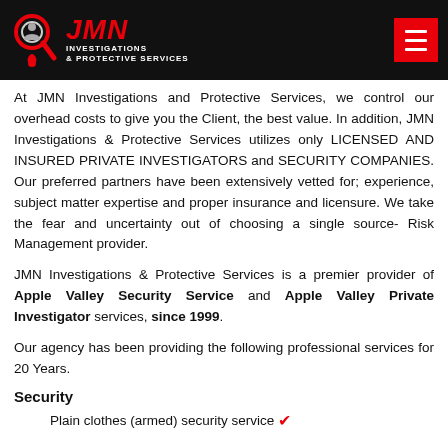JMN Investigations & Protective Services
At JMN Investigations and Protective Services, we control our overhead costs to give you the Client, the best value. In addition, JMN Investigations & Protective Services utilizes only LICENSED AND INSURED PRIVATE INVESTIGATORS and SECURITY COMPANIES. Our preferred partners have been extensively vetted for; experience, subject matter expertise and proper insurance and licensure. We take the fear and uncertainty out of choosing a single source- Risk Management provider.
JMN Investigations & Protective Services is a premier provider of Apple Valley Security Service and Apple Valley Private Investigator services, since 1999.
Our agency has been providing the following professional services for 20 Years.
Security
Plain clothes (armed) security service ✔